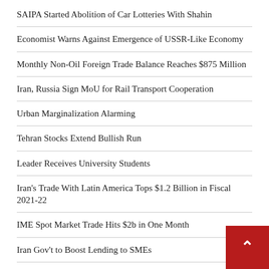SAIPA Started Abolition of Car Lotteries With Shahin
Economist Warns Against Emergence of USSR-Like Economy
Monthly Non-Oil Foreign Trade Balance Reaches $875 Million
Iran, Russia Sign MoU for Rail Transport Cooperation
Urban Marginalization Alarming
Tehran Stocks Extend Bullish Run
Leader Receives University Students
Iran's Trade With Latin America Tops $1.2 Billion in Fiscal 2021-22
IME Spot Market Trade Hits $2b in One Month
Iran Gov't to Boost Lending to SMEs